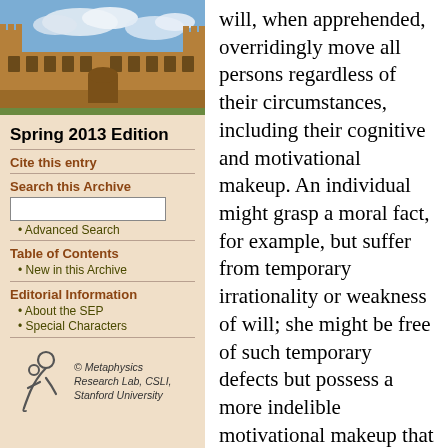[Figure (photo): Photograph of a historic stone university building with Gothic architecture and a courtyard, taken from ground level with blue sky and clouds in background.]
Spring 2013 Edition
Cite this entry
Search this Archive
• Advanced Search
Table of Contents
• New in this Archive
Editorial Information
• About the SEP
• Special Characters
[Figure (logo): Metaphysics Research Lab logo — stylized figure with circular element]
© Metaphysics Research Lab, CSLI, Stanford University
will, when apprehended, overridingly move all persons regardless of their circumstances, including their cognitive and motivational makeup. An individual might grasp a moral fact, for example, but suffer from temporary irrationality or weakness of will; she might be free of such temporary defects but possess a more indelible motivational makeup that impedes or defeats the motivating power of moral facts. Any plausible account of moral motivation will, and must, acknowledge these sources of motivational failure; and any plausible analysis of moral properties must allow for